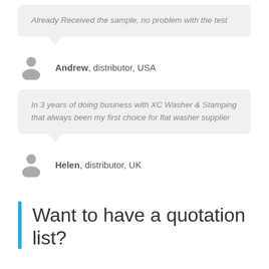Already Received the sample, no problem with the test
Andrew, distributor, USA
In 3 years of doing business with XC Washer & Stamping that always been my first choice for flat washer supplier
Helen, distributor, UK
Want to have a quotation list?